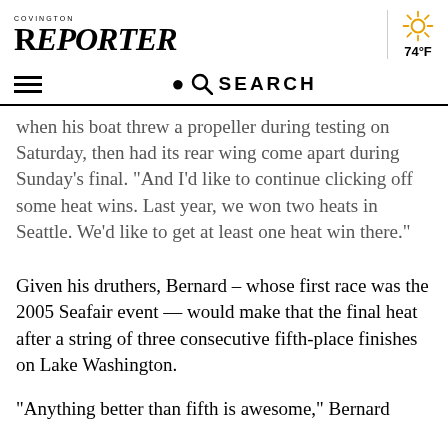COVINGTON REPORTER
when his boat threw a propeller during testing on Saturday, then had its rear wing come apart during Sunday’s final. “And I’d like to continue clicking off some heat wins. Last year, we won two heats in Seattle. We’d like to get at least one heat win there.”
Given his druthers, Bernard – whose first race was the 2005 Seafair event — would make that the final heat after a string of three consecutive fifth-place finishes on Lake Washington.
“Anything better than fifth is awesome,” Bernard